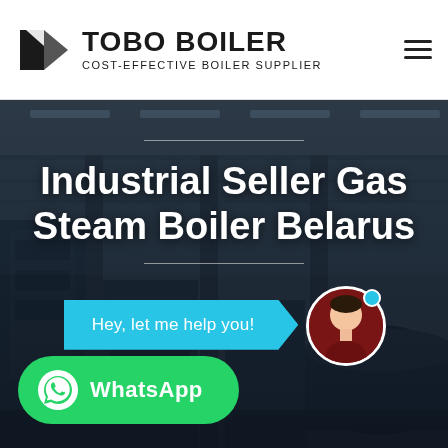[Figure (logo): TOBO BOILER logo with geometric icon on left, bold text TOBO BOILER and subtitle COST-EFFECTIVE BOILER SUPPLIER]
[Figure (photo): Industrial boiler manufacturing facility interior with large machinery and overhead cranes, used as hero background image]
Industrial Seller Gas Steam Boiler Belarus
Hey, let me help you!
WhatsApp